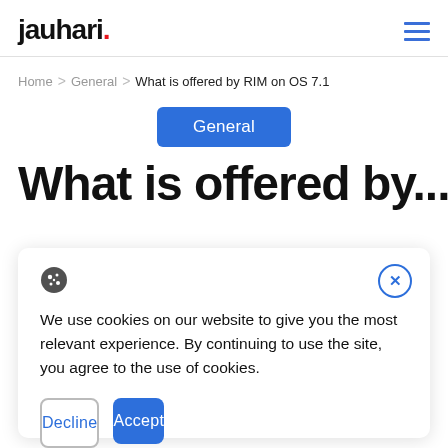jauhari.
Home > General > What is offered by RIM on OS 7.1
General
What is offered by...
We use cookies on our website to give you the most relevant experience. By continuing to use the site, you agree to the use of cookies.
Decline
Accept